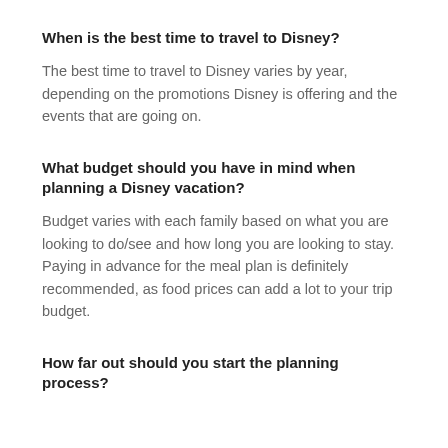When is the best time to travel to Disney?
The best time to travel to Disney varies by year, depending on the promotions Disney is offering and the events that are going on.
What budget should you have in mind when planning a Disney vacation?
Budget varies with each family based on what you are looking to do/see and how long you are looking to stay. Paying in advance for the meal plan is definitely recommended, as food prices can add a lot to your trip budget.
How far out should you start the planning process?